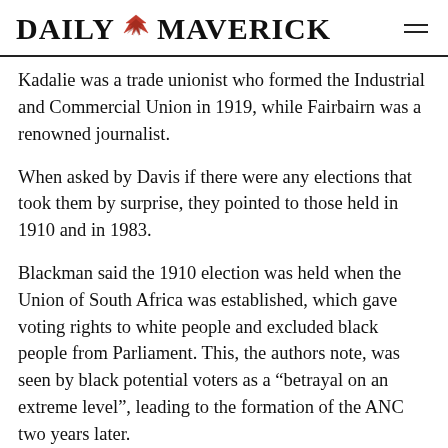DAILY MAVERICK
Kadalie was a trade unionist who formed the Industrial and Commercial Union in 1919, while Fairbairn was a renowned journalist.
When asked by Davis if there were any elections that took them by surprise, they pointed to those held in 1910 and in 1983.
Blackman said the 1910 election was held when the Union of South Africa was established, which gave voting rights to white people and excluded black people from Parliament. This, the authors note, was seen by black potential voters as a “betrayal on an extreme level”, leading to the formation of the ANC two years later.
The next surprise was the establishment of the